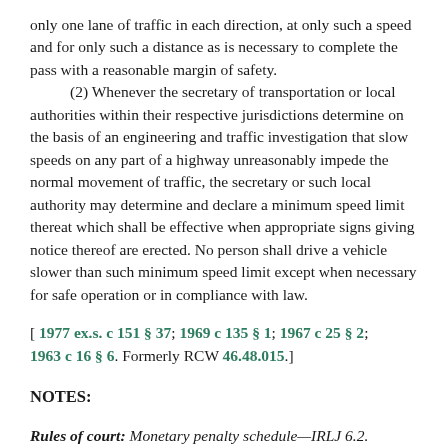only one lane of traffic in each direction, at only such a speed and for only such a distance as is necessary to complete the pass with a reasonable margin of safety.
(2) Whenever the secretary of transportation or local authorities within their respective jurisdictions determine on the basis of an engineering and traffic investigation that slow speeds on any part of a highway unreasonably impede the normal movement of traffic, the secretary or such local authority may determine and declare a minimum speed limit thereat which shall be effective when appropriate signs giving notice thereof are erected. No person shall drive a vehicle slower than such minimum speed limit except when necessary for safe operation or in compliance with law.
[ 1977 ex.s. c 151 § 37; 1969 c 135 § 1; 1967 c 25 § 2; 1963 c 16 § 6. Formerly RCW 46.48.015.]
NOTES:
Rules of court: Monetary penalty schedule—IRLJ 6.2.